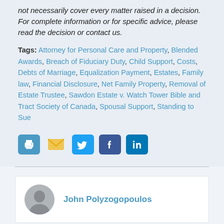not necessarily cover every matter raised in a decision. For complete information or for specific advice, please read the decision or contact us.
Tags: Attorney for Personal Care and Property, Blended Awards, Breach of Fiduciary Duty, Child Support, Costs, Debts of Marriage, Equalization Payment, Estates, Family law, Financial Disclosure, Net Family Property, Removal of Estate Trustee, Sawdon Estate v. Watch Tower Bible and Tract Society of Canada, Spousal Support, Standing to Sue
[Figure (infographic): Social sharing icons: print, email, Twitter, Facebook, LinkedIn]
John Polyzogopoulos